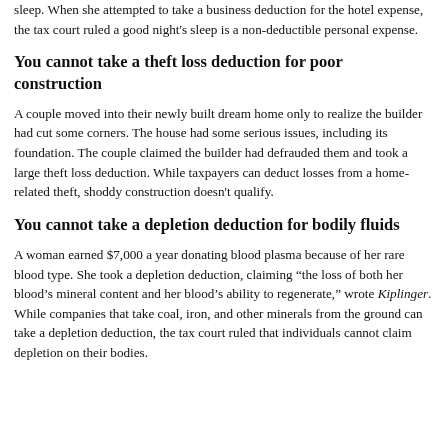sleep. When she attempted to take a business deduction for the hotel expense, the tax court ruled a good night's sleep is a non-deductible personal expense.
You cannot take a theft loss deduction for poor construction
A couple moved into their newly built dream home only to realize the builder had cut some corners. The house had some serious issues, including its foundation. The couple claimed the builder had defrauded them and took a large theft loss deduction. While taxpayers can deduct losses from a home-related theft, shoddy construction doesn't qualify.
You cannot take a depletion deduction for bodily fluids
A woman earned $7,000 a year donating blood plasma because of her rare blood type. She took a depletion deduction, claiming “the loss of both her blood’s mineral content and her blood’s ability to regenerate,” wrote Kiplinger. While companies that take coal, iron, and other minerals from the ground can take a depletion deduction, the tax court ruled that individuals cannot claim depletion on their bodies.